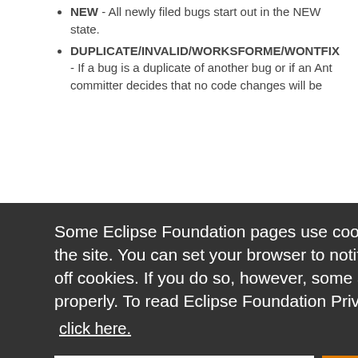NEW - All newly filed bugs start out in the NEW state.
DUPLICATE/INVALID/WORKSFORME/WONTFIX - If a bug is a duplicate of another bug or if an Ant committer decides that no code changes will be
Some Eclipse Foundation pages use cookies to better serve you when you return to the site. You can set your browser to notify you before you receive a cookie or turn off cookies. If you do so, however, some areas of some sites may not function properly. To read Eclipse Foundation Privacy Policy
click here.
Decline
Allow cookies
Bugzilla is picky about the state changes it allows, so